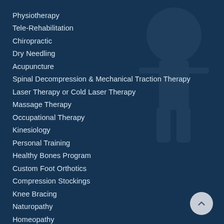Physiotherapy
Tele-Rehabilitation
Chiropractic
Dry Needling
Acupuncture
Spinal Decompression & Mechanical Traction Therapy
Laser Therapy or Cold Laser Therapy
Massage Therapy
Occupational Therapy
Kinesiology
Personal Training
Healthy Bones Program
Custom Foot Orthotics
Compression Stockings
Knee Bracing
Naturopathy
Homeopathy
Wellness & Prevention
Sports Therapy